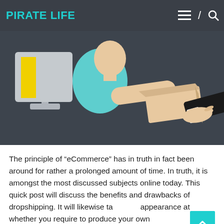PIRATE LIFE
[Figure (illustration): Cartoon illustration on dark background showing a person reaching through a computer monitor handing a package/box to another person's hand in a business suit sleeve, representing eCommerce or dropshipping concept.]
The principle of "eCommerce" has in truth in fact been around for rather a prolonged amount of time. In truth, it is amongst the most discussed subjects online today. This quick post will discuss the benefits and drawbacks of dropshipping. It will likewise take appearance at whether you require to produce your own eCommerce shop or if you need to simply choose for